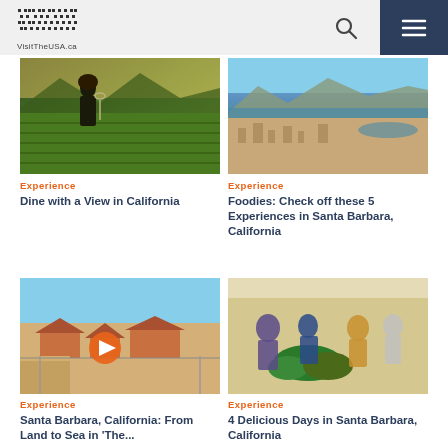VisitTheUSA.ca
[Figure (photo): Woman with wine glass overlooking vineyard at sunset, California]
Experience
Dine with a View in California
[Figure (photo): Aerial view of Santa Barbara coastline with harbor and mountains]
Experience
Foodies: Check off these 5 Experiences in Santa Barbara, California
[Figure (photo): Aerial view of Santa Barbara red-roofed buildings with video play button overlay]
Experience
Santa Barbara, California: From Land to Sea in 'The...
[Figure (photo): People shopping at an outdoor farmers market with fresh vegetables]
Experience
4 Delicious Days in Santa Barbara, California